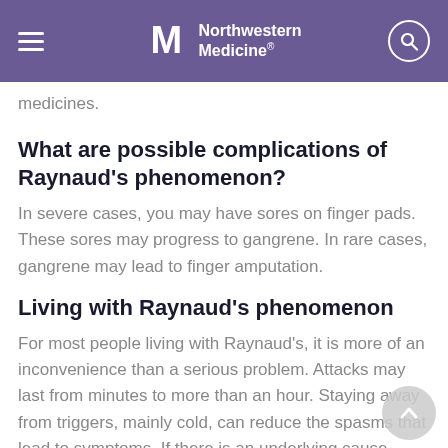Northwestern Medicine
medicines.
What are possible complications of Raynaud's phenomenon?
In severe cases, you may have sores on finger pads. These sores may progress to gangrene. In rare cases, gangrene may lead to finger amputation.
Living with Raynaud's phenomenon
For most people living with Raynaud's, it is more of an inconvenience than a serious problem. Attacks may last from minutes to more than an hour. Staying away from triggers, mainly cold, can reduce the spasms that lead to symptoms. If there is an underlying cause, such as